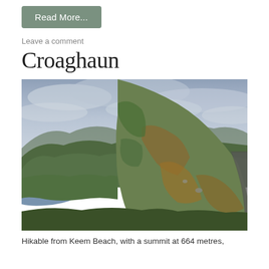Read More...
Leave a comment
Croaghaun
[Figure (photo): Landscape photo of a coastal mountain scene in Ireland. A steep hillside covered in green and orange-brown vegetation occupies the right foreground, with a narrow road visible. In the background, green hills roll down to a small bay or lake on the left. The sky is overcast with blue-grey clouds.]
Hikable from Keem Beach, with a summit at 664 metres,